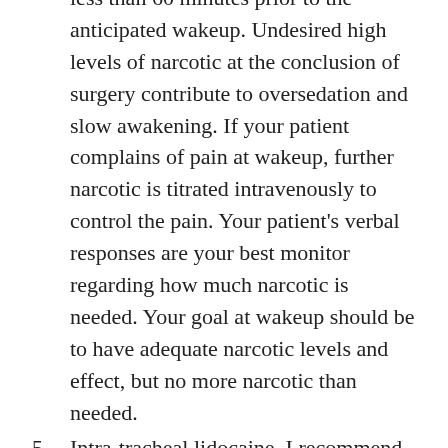less than 60 minutes prior to the anticipated wakeup. Undesired high levels of narcotic at the conclusion of surgery contribute to oversedation and slow awakening. If your patient complains of pain at wakeup, further narcotic is titrated intravenously to control the pain. Your patient’s verbal responses are your best monitor regarding how much narcotic is needed. Your goal at wakeup should be to have adequate narcotic levels and effect, but no more narcotic than needed.
Intra-tracheal lidocaine. I recommend spraying 4 ml of 4% lidocaine into the larynx and trachea at laryngoscopy prior to inserting the endotracheal tube. I can’t cite you any data, but it’s my impression that patients demonstrate less bucking on endotracheal tubes at awakening when lidocaine was sprayed into their tracheas. Less